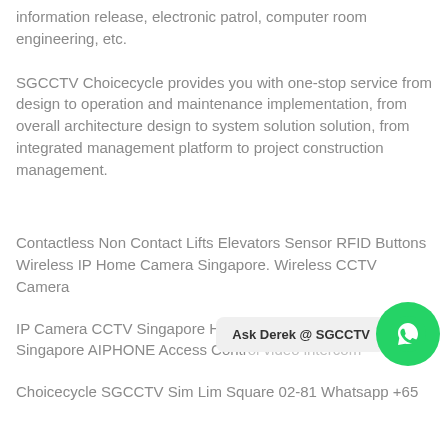information release, electronic patrol, computer room engineering, etc.
SGCCTV Choicecycle provides you with one-stop service from design to operation and maintenance implementation, from overall architecture design to system solution solution, from integrated management platform to project construction management.
Contactless Non Contact Lifts Elevators Sensor RFID Buttons Wireless IP Home Camera Singapore. Wireless CCTV Camera
IP Camera CCTV Singapore H... Singapore AIPHONE Access Control video intercom
[Figure (other): WhatsApp chat button with green circle icon and label 'Ask Derek @ SGCCTV']
Choicecycle SGCCTV Sim Lim Square 02-81 Whatsapp +65